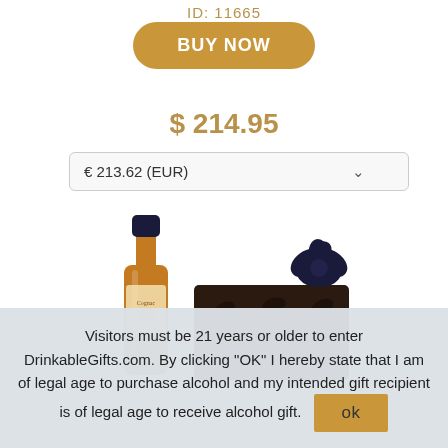ID: 11665
BUY NOW
$ 214.95
€ 213.62 (EUR)
[Figure (photo): Product photo showing a bottle of liquor with a dark navy cap and amber body, next to a dark brown decorative gift box with a matching bow]
Visitors must be 21 years or older to enter DrinkableGifts.com. By clicking "OK" I hereby state that I am of legal age to purchase alcohol and my intended gift recipient is of legal age to receive alcohol gift.
ok